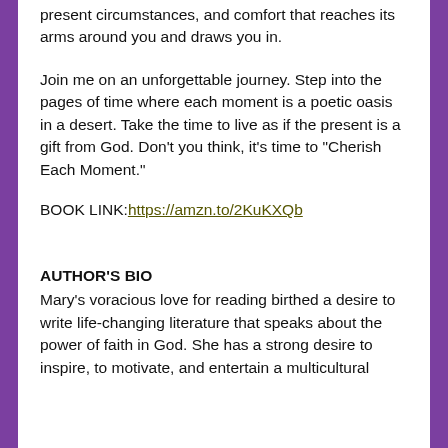present circumstances, and comfort that reaches its arms around you and draws you in.
Join me on an unforgettable journey. Step into the pages of time where each moment is a poetic oasis in a desert. Take the time to live as if the present is a gift from God. Don’t you think, it’s time to “Cherish Each Moment.”
BOOK LINK:https://amzn.to/2KuKXQb
AUTHOR’S BIO
Mary’s voracious love for reading birthed a desire to write life-changing literature that speaks about the power of faith in God. She has a strong desire to inspire, to motivate, and entertain a multicultural